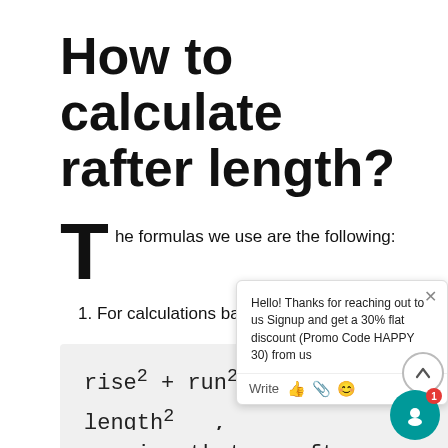How to calculate rafter length?
The formulas we use are the following:
1. For calculations based on the roof rise:
meaning that: rafter